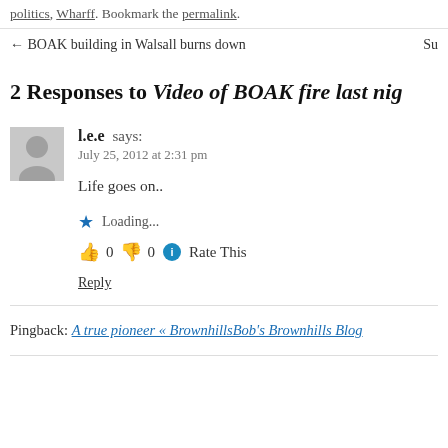politics, Wharff. Bookmark the permalink.
← BOAK building in Walsall burns down   Su
2 Responses to Video of BOAK fire last nig
l.e.e says:
July 25, 2012 at 2:31 pm

Life goes on..

★ Loading...
👍 0 👎 0 ℹ Rate This
Reply
Pingback: A true pioneer « BrownhillsBob's Brownhills Blog